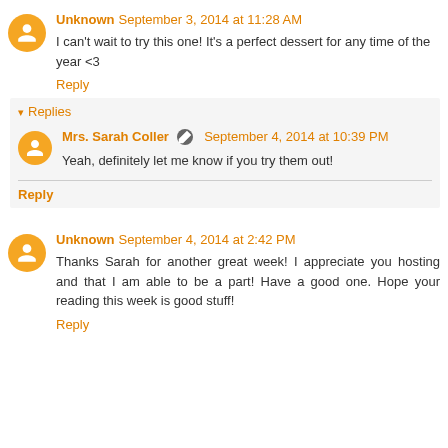Unknown September 3, 2014 at 11:28 AM
I can't wait to try this one! It's a perfect dessert for any time of the year <3
Reply
Replies
Mrs. Sarah Coller September 4, 2014 at 10:39 PM
Yeah, definitely let me know if you try them out!
Reply
Unknown September 4, 2014 at 2:42 PM
Thanks Sarah for another great week! I appreciate you hosting and that I am able to be a part! Have a good one. Hope your reading this week is good stuff!
Reply